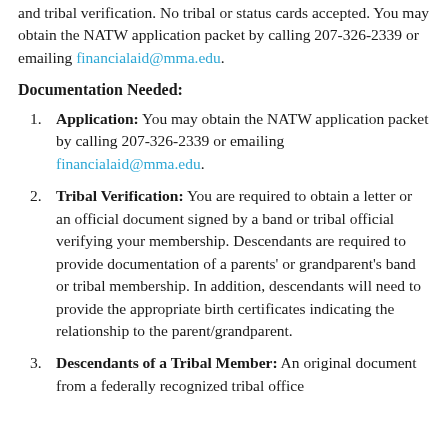and tribal verification. No tribal or status cards accepted. You may obtain the NATW application packet by calling 207-326-2339 or emailing financialaid@mma.edu.
Documentation Needed:
Application: You may obtain the NATW application packet by calling 207-326-2339 or emailing financialaid@mma.edu.
Tribal Verification: You are required to obtain a letter or an official document signed by a band or tribal official verifying your membership. Descendants are required to provide documentation of a parents' or grandparent's band or tribal membership. In addition, descendants will need to provide the appropriate birth certificates indicating the relationship to the parent/grandparent.
Descendants of a Tribal Member: An original document from a federally recognized tribal office